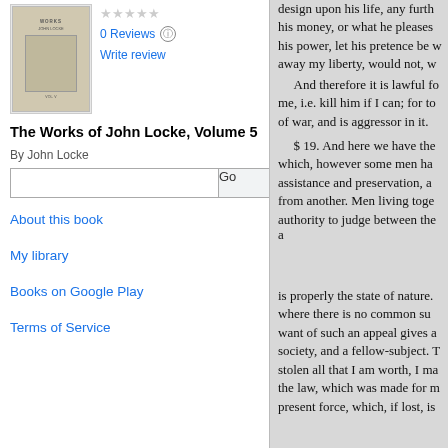[Figure (illustration): Thumbnail of book cover for The Works of John Locke, Volume 5]
0 Reviews
Write review
The Works of John Locke, Volume 5
By John Locke
About this book
My library
Books on Google Play
Terms of Service
design upon his life, any furth... his money, or what he pleases... his power, let his pretence be w... away my liberty, would not, w...

And therefore it is lawful fo... me, i.e. kill him if I can; for to... of war, and is aggressor in it.

$ 19. And here we have the... which, however some men ha... assistance and preservation, a... from another. Men living toge... authority to judge between the...

a

is properly the state of nature. where there is no common su... want of such an appeal gives a... society, and a fellow-subject. T... stolen all that I am worth, I ma... the law, which was made for m... present force, which, if lost, is...